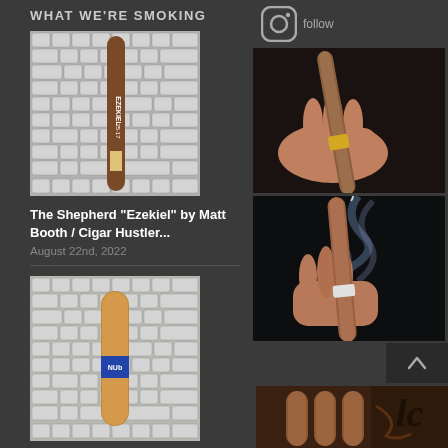WHAT WE'RE SMOKING
[Figure (photo): Cigar product thumbnail on keyboard background - Ezekiel cigar]
The Shepherd “Ezekiel” by Matt Booth / Cigar Hustler...
August 22nd, 2022
[Figure (photo): Cigar product thumbnail on keyboard background - Nub Sumatra cigar]
Nub Sumatra 460 by NUb / Oliva Cigars...
August 22nd, 2022
[Figure (photo): Cigar product thumbnail on keyboard background - third cigar]
[Figure (logo): Instagram icon]
follow
[Figure (photo): Hand holding a cigar against dark background]
[Figure (photo): Hand holding a smoking cigar with blue smoke swirling]
[Figure (photo): Three cigars with stylized text/logo overlay]